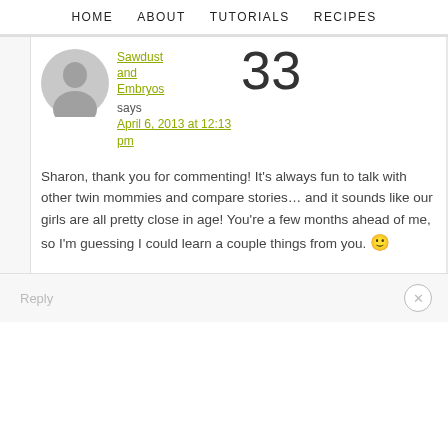HOME   ABOUT   TUTORIALS   RECIPES
Sawdust and Embryos says April 6, 2013 at 12:13 pm
Sharon, thank you for commenting! It's always fun to talk with other twin mommies and compare stories… and it sounds like our girls are all pretty close in age! You're a few months ahead of me, so I'm guessing I could learn a couple things from you. 🙂
Reply